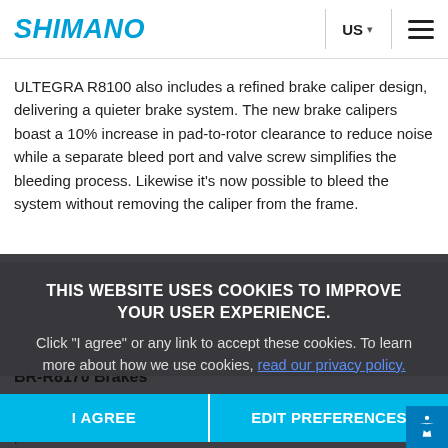SHIMANO | US
ULTEGRA R8100 also includes a refined brake caliper design, delivering a quieter brake system. The new brake calipers boast a 10% increase in pad-to-rotor clearance to reduce noise while a separate bleed port and valve screw simplifies the bleeding process. Likewise it’s now possible to bleed the system without removing the caliper from the frame.
THIS WEBSITE USES COOKIES TO IMPROVE YOUR USER EXPERIENCE. Click "I agree" or any link to accept these cookies. To learn more about how we use cookies, read our privacy policy.
BR-R8170 Brakes
- ... raking r...